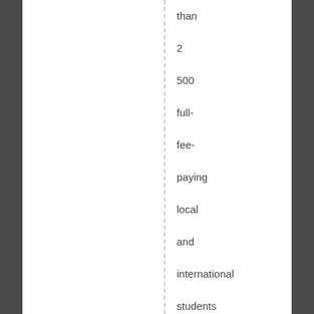than 2 500 full-fee-paying local and international students from many different countries. Melbourne, the capital city of Victoria, is Australia's second